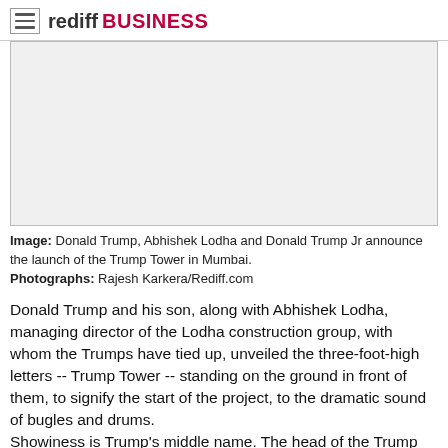rediff BUSINESS
[Figure (photo): Placeholder image area showing Donald Trump, Abhishek Lodha and Donald Trump Jr announcing the launch of Trump Tower in Mumbai]
Image: Donald Trump, Abhishek Lodha and Donald Trump Jr announce the launch of the Trump Tower in Mumbai.
Photographs: Rajesh Karkera/Rediff.com
Donald Trump and his son, along with Abhishek Lodha, managing director of the Lodha construction group, with whom the Trumps have tied up, unveiled the three-foot-high letters -- Trump Tower -- standing on the ground in front of them, to signify the start of the project, to the dramatic sound of bugles and drums.
Showiness is Trump's middle name. The head of the Trump Organisation and Trump Entrainment Resorts, the American business mogul, who had a role in the television reality show The Apprentice, has always been a magnet for attention for his over-the-top lifestyle and